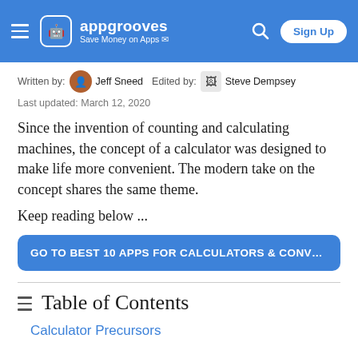appgrooves — Save Money on Apps
Written by: Jeff Sneed  Edited by: Steve Dempsey
Last updated: March 12, 2020
Since the invention of counting and calculating machines, the concept of a calculator was designed to make life more convenient. The modern take on the concept shares the same theme.
Keep reading below ...
GO TO BEST 10 APPS FOR CALCULATORS & CONVERT
Table of Contents
Calculator Precursors